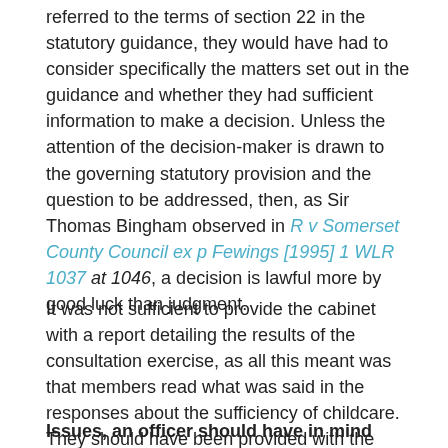referred to the terms of section 22 in the statutory guidance, they would have had to consider specifically the matters set out in the guidance and whether they had sufficient information to make a decision. Unless the attention of the decision-maker is drawn to the governing statutory provision and the question to be addressed, then, as Sir Thomas Bingham observed in R v Somerset County Council ex p Fewings [1995] 1 WLR 1037 at 1046, a decision is lawful more by good luck than judgment.
It was not sufficient to provide the cabinet with a report detailing the results of the consultation exercise, as all this meant was that members read what was said in the responses about the sufficiency of childcare. They should have been provided with the statutory framework in order to consider and properly assess the issue.
Issues an officer should have in mind when